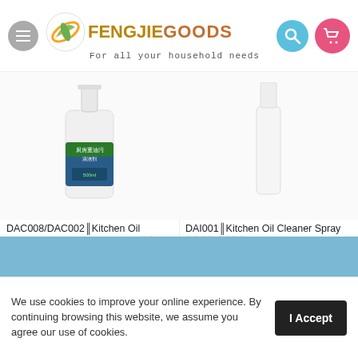[Figure (logo): FengJie Goods logo with circular leaf emblem in green/yellow/orange and text 'FENGJIEGOODS For all your household needs']
[Figure (photo): Product image: kitchen oil cleaner spray bottle, white with green/blue label, 500ml]
DAC008/DAC002║Kitchen Oil Cleaner (exclude spray head) ║║ (║║║║) 500ml
SGD 5.60  SGD 6.80
[Figure (photo): Product image: DAI001 Kitchen Oil Cleaner Spray, partial/faint image visible]
DAI001║Kitchen Oil Cleaner Spray ║║║║ ║║║║
SGD 1.10  SGD 1.60
We use cookies to improve your online experience. By continuing browsing this website, we assume you agree our use of cookies.